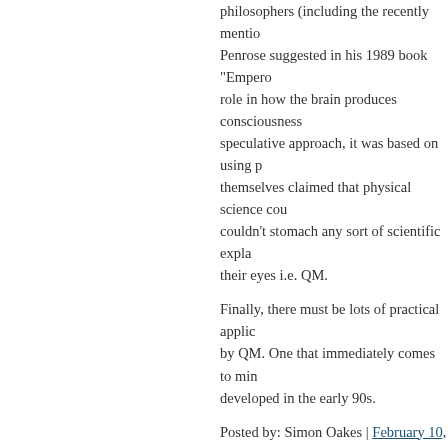philosophers (including the recently mention... Penrose suggested in his 1989 book "Emperor... role in how the brain produces consciousness... speculative approach, it was based on using p... themselves claimed that physical science cou... couldn't stomach any sort of scientific expla... their eyes i.e. QM.
Finally, there must be lots of practical applic... by QM. One that immediately comes to min... developed in the early 90s.
Posted by: Simon Oakes | February 10, 2014 at 11:1...
If you're thinking of making money i... In casinos, the house take obliterates... market and brokerage fees. And in th... casino/stock market will also be usin... ability they have plus all sorts of othe... making a strait-forward application o... daunting proposition. This cannot be... simulation.
Posted by: Stephen Baumgart | Febru...